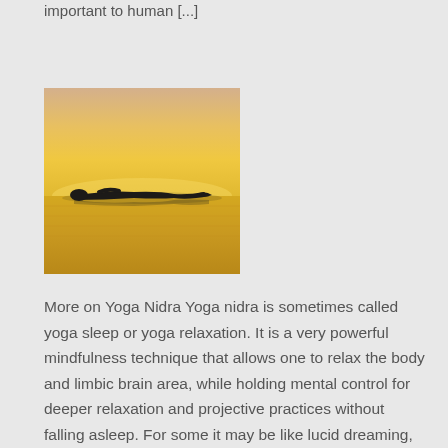important to human [...]
[Figure (photo): Silhouette of a person lying down in a yoga relaxation pose on a reflective surface, against a golden yellow sunset sky]
More on Yoga Nidra Yoga nidra is sometimes called yoga sleep or yoga relaxation. It is a very powerful mindfulness technique that allows one to relax the body and limbic brain area, while holding mental control for deeper relaxation and projective practices without falling asleep. For some it may be like lucid dreaming, but a [...]